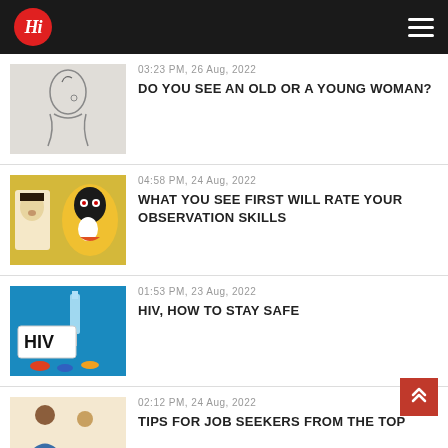Hi (logo) — navigation header
03:23 PM, 26 Aug, 2022 — DO YOU SEE AN OLD OR A YOUNG WOMAN?
04:58 PM, 24 Aug, 2022 — WHAT YOU SEE FIRST WILL RATE YOUR OBSERVATION SKILLS
01:53 PM, 23 Aug, 2022 — HIV, HOW TO STAY SAFE
02:12 PM, 24 Aug, 2022 — TIPS FOR JOB SEEKERS FROM THE TOP